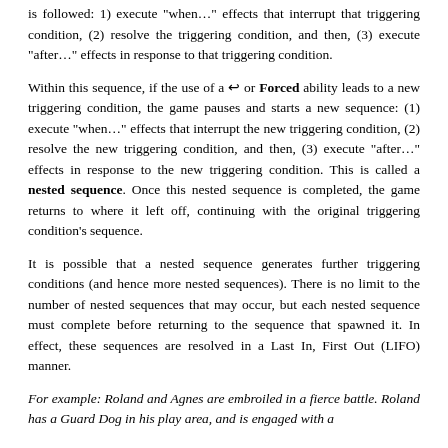is followed: 1) execute "when…" effects that interrupt that triggering condition, (2) resolve the triggering condition, and then, (3) execute "after…" effects in response to that triggering condition.
Within this sequence, if the use of a [arrow icon] or Forced ability leads to a new triggering condition, the game pauses and starts a new sequence: (1) execute "when…" effects that interrupt the new triggering condition, (2) resolve the new triggering condition, and then, (3) execute "after…" effects in response to the new triggering condition. This is called a nested sequence. Once this nested sequence is completed, the game returns to where it left off, continuing with the original triggering condition's sequence.
It is possible that a nested sequence generates further triggering conditions (and hence more nested sequences). There is no limit to the number of nested sequences that may occur, but each nested sequence must complete before returning to the sequence that spawned it. In effect, these sequences are resolved in a Last In, First Out (LIFO) manner.
For example: Roland and Agnes are embroiled in a fierce battle. Roland has a Guard Dog in his play area, and is engaged with a